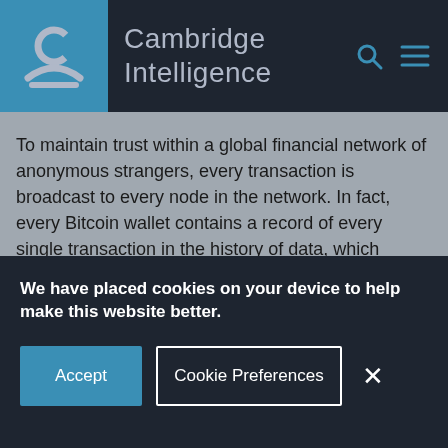Cambridge Intelligence
To maintain trust within a global financial network of anonymous strangers, every transaction is broadcast to every node in the network. In fact, every Bitcoin wallet contains a record of every single transaction in the history of data, which allows validation of future transactions.
Broadcasting those transactions globally can result in disagreement across the network which could undermine the whole currency, so Bitcoin uses a
We have placed cookies on your device to help make this website better.
Accept
Cookie Preferences